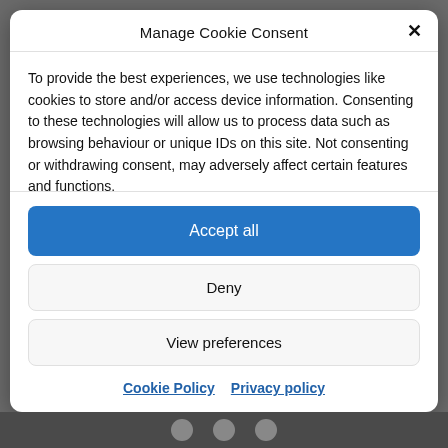Manage Cookie Consent
To provide the best experiences, we use technologies like cookies to store and/or access device information. Consenting to these technologies will allow us to process data such as browsing behaviour or unique IDs on this site. Not consenting or withdrawing consent, may adversely affect certain features and functions.
Accept all
Deny
View preferences
Cookie Policy  Privacy policy